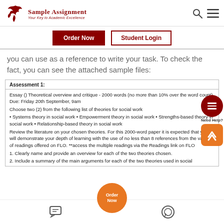[Figure (logo): Sample Assignment logo with red bird/phoenix graphic and text 'Sample Assignment - Your Key to Academic Excellence']
[Figure (other): Navigation buttons: 'Order Now' (dark red filled) and 'Student Login' (outlined)]
you can use as a reference to write your task. To check the fact, you can see the attached sample files:
Assessment 1:
Essay () Theoretical overview and critique - 2000 words (no more than 10% over the word count)
Due: Friday 20th September, 9am
Choose two (2) from the following list of theories for social work
• Systems theory in social work • Empowerment theory in social work • Strengths-based theory in social work • Relationship-based theory in social work
Review the literature on your chosen theories. For this 2000-word paper it is expected that you will demonstrate your depth of learning with the use of no less than 8 references from the variety of readings offered on FLO. **access the multiple readings via the Readings link on FLO
1. Clearly name and provide an overview for each of the two theories chosen.
2. Include a summary of the main arguments for each of the two theories used in social